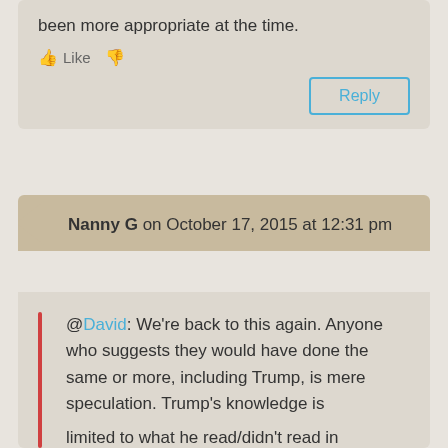been more appropriate at the time.
Like  [thumbs down]
Reply
Nanny G on October 17, 2015 at 12:31 pm
@David: We're back to this again. Anyone who suggests they would have done the same or more, including Trump, is mere speculation. Trump's knowledge is limited to what he read/didn't read in